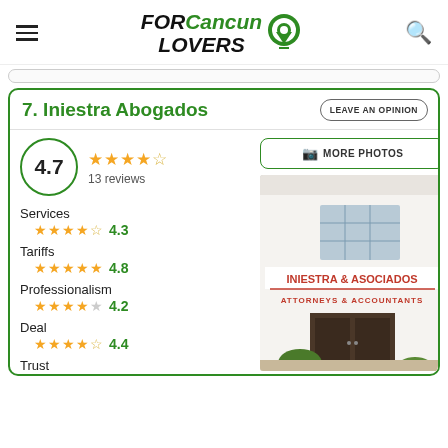FOR Cancun LOVERS
7. Iniestra Abogados
LEAVE AN OPINION
4.7 — 13 reviews
Services 4.3
Tariffs 4.8
Professionalism 4.2
Deal 4.4
Trust
[Figure (photo): Exterior facade of Iniestra & Asociados Attorneys & Accountants building, white walls with red signage]
MORE PHOTOS